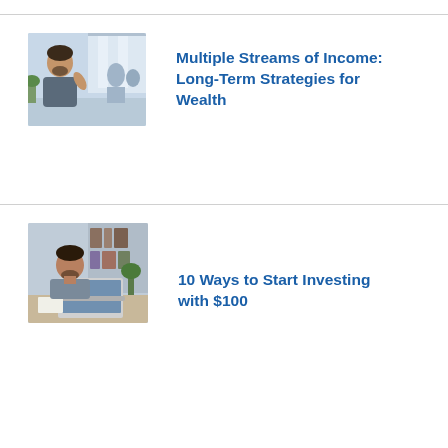[Figure (photo): Photo of a man smiling and gesturing in a bright office/cafe setting with other people in the background]
Multiple Streams of Income: Long-Term Strategies for Wealth
[Figure (photo): Photo of a bearded man looking down at a laptop in an office/library setting]
10 Ways to Start Investing with $100